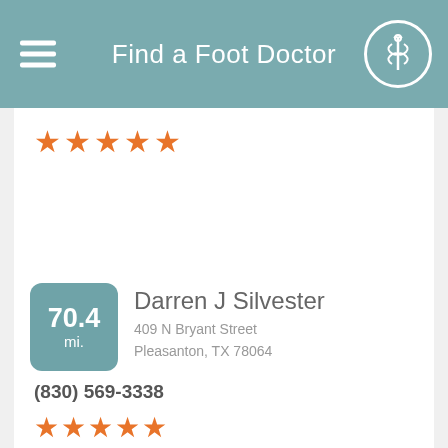Find a Foot Doctor
★★★★★ (5 stars rating)
70.4 mi.
Darren J Silvester
409 N Bryant Street
Pleasanton, TX 78064
(830) 569-3338
★★★★★ (5 stars rating)
78.4 mi.
Morris A Stribling
Foot Care of Central San Antonio
305 E Euclid #101
San Antonio, TX 78212